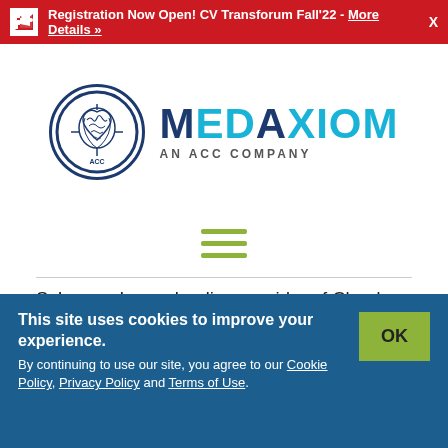Registration Now Open! CV Transforum Fall'22 - More Details »
[Figure (logo): MedAxiom logo: circular dark blue emblem with heart/anatomy illustration, beside MEDAXIOM text in navy and light blue, subtitle AN ACC COMPANY]
[Figure (infographic): Hamburger menu icon with three olive/yellow-green horizontal bars]
ScImage, Inc., a leading provider of Cloud-centric enterprise imaging and reporting solutions, announces its partnership with Huntsville Memorial Hospital (HMH), a Community Hospital Corporation (CHC)
solution provides the Huntsville, Te... ...technology
This site uses cookies to improve your experience. By continuing to use our site, you agree to our Cookie Policy, Privacy Policy and Terms of Use.